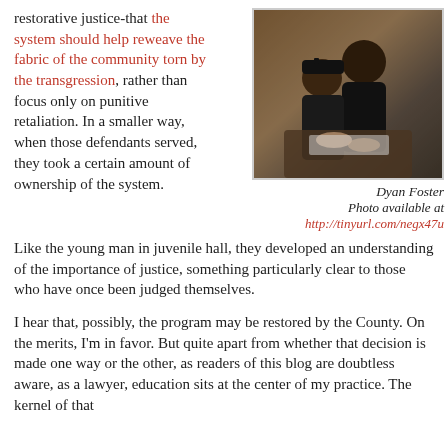restorative justice-that the system should help reweave the fabric of the community torn by the transgression, rather than focus only on punitive retaliation. In a smaller way, when those defendants served, they took a certain amount of ownership of the system. Like the young man in juvenile hall, they developed an understanding of the importance of justice, something particularly clear to those who have once been judged themselves.
[Figure (photo): Two people, a young person in a black cap and a woman, looking down together at something on a table, likely studying or working.]
Dyan Foster
Photo available at http://tinyurl.com/negx47u
I hear that, possibly, the program may be restored by the County. On the merits, I'm in favor. But quite apart from whether that decision is made one way or the other, as readers of this blog are doubtless aware, as a lawyer, education sits at the center of my practice. The kernel of that